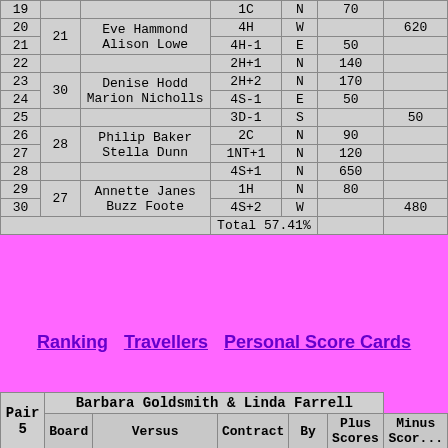| Board | Pair | Versus | Contract | By | Plus Scores | Minus Scores |
| --- | --- | --- | --- | --- | --- | --- |
| 19 |  |  | 1C | N | 70 |  |
| 20 | 21 | Eve Hammond Alison Lowe | 4H | W |  | 620 |
| 21 |  |  | 4H-1 | E | 50 |  |
| 22 |  |  | 2H+1 | N | 140 |  |
| 23 | 30 | Denise Hodd Marion Nicholls | 2H+2 | N | 170 |  |
| 24 |  |  | 4S-1 | E | 50 |  |
| 25 |  |  | 3D-1 | S |  | 50 |
| 26 | 28 | Philip Baker Stella Dunn | 2C | N | 90 |  |
| 27 |  |  | 1NT+1 | N | 120 |  |
| 28 |  |  | 4S+1 | N | 650 |  |
| 29 | 27 | Annette Janes Buzz Foote | 1H | N | 80 |  |
| 30 |  |  | 4S+2 | W |  | 480 |
|  |  |  | Total | 57.41% |  |  |
Ranking   Travellers   Personal Score Cards
| Pair 5 | Barbara Goldsmith & Linda Farrell |
| --- | --- |
| Board | Versus | Contract | By | Plus Scores | Minus Scores |
| 1 | Philip Baker Stella Dunn (28) | 3D-1 | N |  | 50 |
| 2 | 28 | 3NT+1 | S | 630 |  |
| 3 |  | 4H+1 | S | 450 |  |